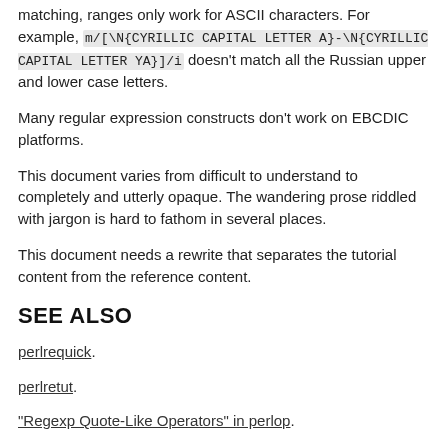matching, ranges only work for ASCII characters. For example, m/[\N{CYRILLIC CAPITAL LETTER A}-\N{CYRILLIC CAPITAL LETTER YA}]/i doesn't match all the Russian upper and lower case letters.
Many regular expression constructs don't work on EBCDIC platforms.
This document varies from difficult to understand to completely and utterly opaque. The wandering prose riddled with jargon is hard to fathom in several places.
This document needs a rewrite that separates the tutorial content from the reference content.
SEE ALSO
perlrequick.
perlretut.
"Regexp Quote-Like Operators" in perlop.